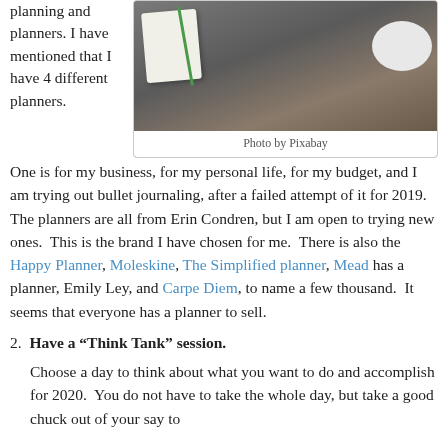planning and planners. I have mentioned that I have 4 different planners.
[Figure (photo): Photo of a planner/journal with a green pen and a bowl of granola with fruit on a wooden table]
Photo by Pixabay
One is for my business, for my personal life, for my budget, and I am trying out bullet journaling, after a failed attempt of it for 2019. The planners are all from Erin Condren, but I am open to trying new ones. This is the brand I have chosen for me. There is also the Happy Planner, Moleskine, The Simplified planner, Mead has a planner, Emily Ley, and Carpe Diem, to name a few thousand. It seems that everyone has a planner to sell.
2. Have a “Think Tank” session.
Choose a day to think about what you want to do and accomplish for 2020. You do not have to take the whole day, but take a good chuck out of your say to